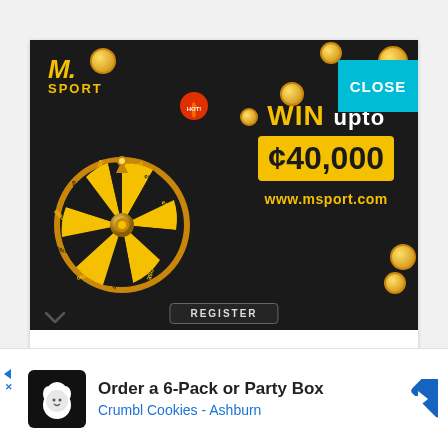[Figure (screenshot): MSport online betting advertisement showing a spinning wheel of fortune with prize amounts (JACKPOT, ¢900, ¢100, ¢300, LOSE, ¢500, ¢1000, ¢300, ¢700, ¢800, ¢500, ¢700) and text 'WIN upto ¢40,000 www.msport.com' with a HOT badge and gold coins. Includes a teal CLOSE button in the top right corner and a REGISTER button at the bottom.]
[Figure (screenshot): Google ad banner for Crumbl Cookies - Ashburn: 'Order a 6-Pack or Party Box' with cookie icon and blue navigation arrow icon. Small triangle and X ad indicators on the left.]